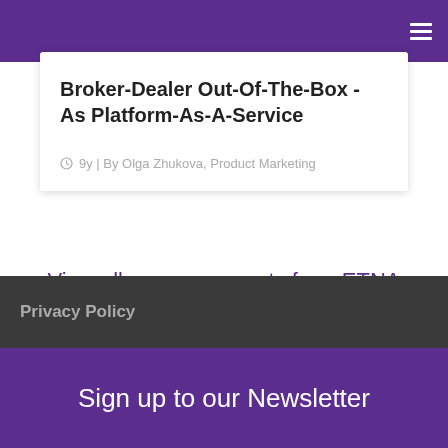Broker-Dealer Out-Of-The-Box - As Platform-As-A-Service
9y | By Olga Zhukova, Product Marketing
View all announcements from ETNA
Privacy Policy
Sign up to our Newsletter